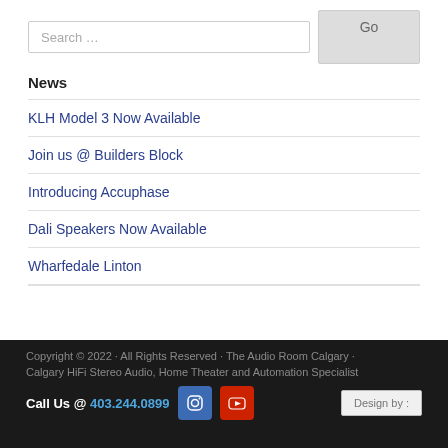Search …
News
KLH Model 3 Now Available
Join us @ Builders Block
Introducing Accuphase
Dali Speakers Now Available
Wharfedale Linton
Copyright © 2022 · All Rights Reserved · The Audio Room Calgary · Calgary HiFi Stereo Audio, Home Theater and Automation Specialist · Call Us @ 403.244.0899 · Design by :